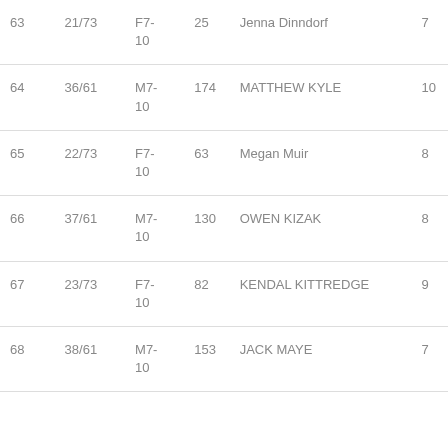| 63 | 21/73 | F7-10 | 25 | Jenna Dinndorf | 7 |
| 64 | 36/61 | M7-10 | 174 | MATTHEW KYLE | 10 |
| 65 | 22/73 | F7-10 | 63 | Megan Muir | 8 |
| 66 | 37/61 | M7-10 | 130 | OWEN KIZAK | 8 |
| 67 | 23/73 | F7-10 | 82 | KENDAL KITTREDGE | 9 |
| 68 | 38/61 | M7-10 | 153 | JACK MAYE | 7 |